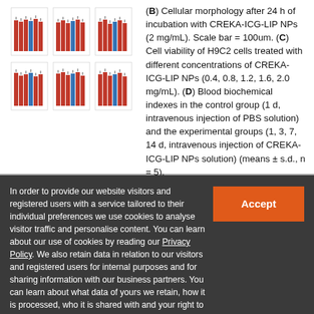[Figure (grouped-bar-chart): Bar charts showing cell viability and blood biochemical index data with red and blue bars, arranged in a 2x3 grid layout with error bars.]
(B) Cellular morphology after 24 h of incubation with CREKA-ICG-LIP NPs (2 mg/mL). Scale bar = 100um. (C) Cell viability of H9C2 cells treated with different concentrations of CREKA-ICG-LIP NPs (0.4, 0.8, 1.2, 1.6, 2.0 mg/mL). (D) Blood biochemical indexes in the control group (1 d, intravenous injection of PBS solution) and the experimental groups (1, 3, 7, 14 d, intravenous injection of CREKA-ICG-LIP NPs solution) (means ± s.d., n = 5).
In order to provide our website visitors and registered users with a service tailored to their individual preferences we use cookies to analyse visitor traffic and personalise content. You can learn about our use of cookies by reading our Privacy Policy. We also retain data in relation to our visitors and registered users for internal purposes and for sharing information with our business partners. You can learn about what data of yours we retain, how it is processed, who it is shared with and your right to have your data deleted by reading our Privacy Policy.
If you agree to our use of cookies and the contents of our Privacy Policy please click 'accept'.